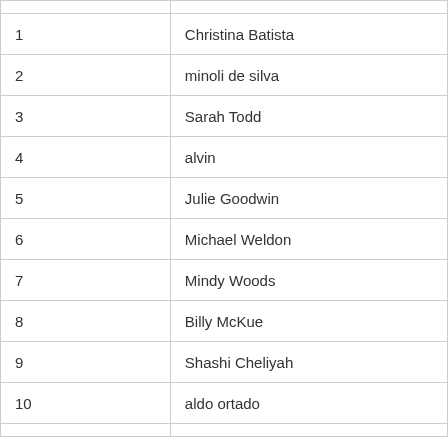| 1 | Christina Batista |
| 2 | minoli de silva |
| 3 | Sarah Todd |
| 4 | alvin |
| 5 | Julie Goodwin |
| 6 | Michael Weldon |
| 7 | Mindy Woods |
| 8 | Billy McKue |
| 9 | Shashi Cheliyah |
| 10 | aldo ortado |